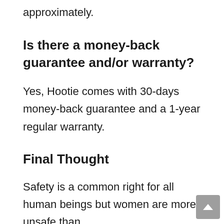approximately.
Is there a money-back guarantee and/or warranty?
Yes, Hootie comes with 30-days money-back guarantee and a 1-year regular warranty.
Final Thought
Safety is a common right for all human beings but women are more unsafe than